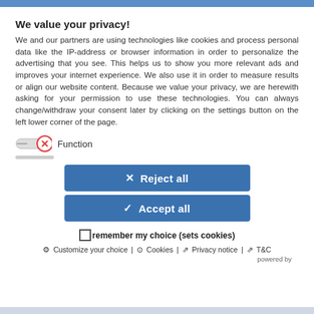We value your privacy!
We and our partners are using technologies like cookies and process personal data like the IP-address or browser information in order to personalize the advertising that you see. This helps us to show you more relevant ads and improves your internet experience. We also use it in order to measure results or align our website content. Because we value your privacy, we are herewith asking for your permission to use these technologies. You can always change/withdraw your consent later by clicking on the settings button on the left lower corner of the page.
[Figure (other): Toggle switch in off/red state labeled 'Function' with a scroll hint bar below]
[Figure (other): Reject all button (blue) and Accept all button (blue) with a checkbox row 'remember my choice (sets cookies)']
Customize your choice | Cookies | Privacy notice | T&C  powered by